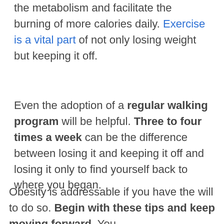the metabolism and facilitate the burning of more calories daily. Exercise is a vital part of not only losing weight but keeping it off.
Even the adoption of a regular walking program will be helpful. Three to four times a week can be the difference between losing it and keeping it off and losing it only to find yourself back to where you began.
Obesity is addressable if you have the will to do so. Begin with these tips and keep moving forward. You